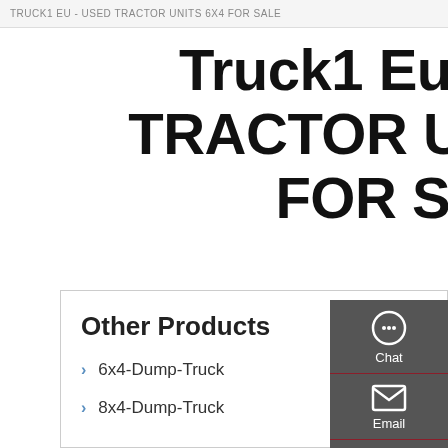Truck1 eu - USED TRACTOR UNITS 6X4 FOR SALE
Truck1 Eu - USED TRACTOR UNITS 6X4 FOR SALE
Other Products
6x4-Dump-Truck
8x4-Dump-Truck